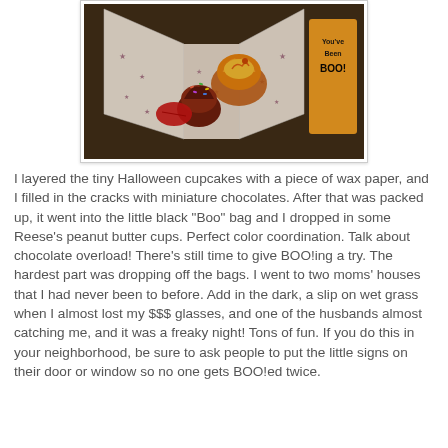[Figure (photo): Overhead view of an open star-patterned gift box containing Halloween cupcakes with orange and yellow frosting, miniature chocolates, and candy, placed on a carpet. A 'You've Been BOO'd' sign is visible on the right side.]
I layered the tiny Halloween cupcakes with a piece of wax paper, and I filled in the cracks with miniature chocolates. After that was packed up, it went into the little black "Boo" bag and I dropped in some Reese's peanut butter cups. Perfect color coordination. Talk about chocolate overload! There's still time to give BOO!ing a try. The hardest part was dropping off the bags. I went to two moms' houses that I had never been to before. Add in the dark, a slip on wet grass when I almost lost my $$$ glasses, and one of the husbands almost catching me, and it was a freaky night! Tons of fun. If you do this in your neighborhood, be sure to ask people to put the little signs on their door or window so no one gets BOO!ed twice.